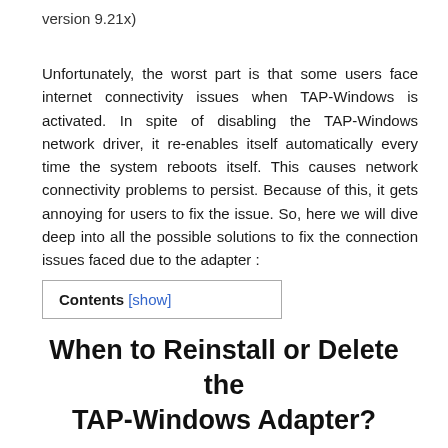version 9.21x)
Unfortunately, the worst part is that some users face internet connectivity issues when TAP-Windows is activated. In spite of disabling the TAP-Windows network driver, it re-enables itself automatically every time the system reboots itself. This causes network connectivity problems to persist. Because of this, it gets annoying for users to fix the issue. So, here we will dive deep into all the possible solutions to fix the connection issues faced due to the adapter :
Contents [show]
When to Reinstall or Delete the TAP-Windows Adapter?